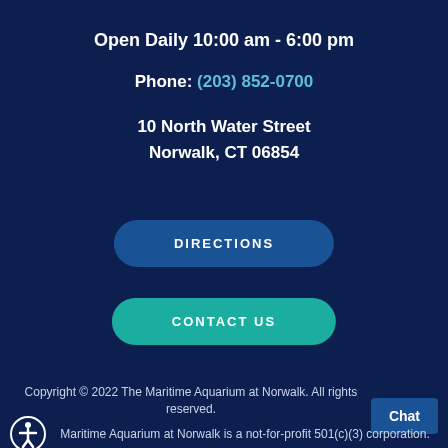Open Daily 10:00 am - 6:00 pm
Phone: (203) 852-0700
10 North Water Street
Norwalk, CT 06854
DIRECTIONS
CONTACT US
Copyright © 2022 The Maritime Aquarium at Norwalk. All rights reserved.
Maritime Aquarium at Norwalk is a not-for-profit 501(c)(3) corporation.